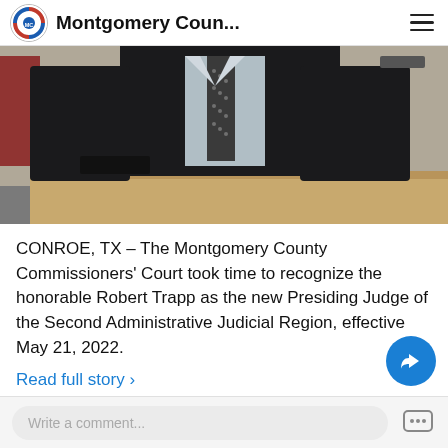Montgomery Coun...
[Figure (photo): Man in dark suit and patterned tie standing behind a wooden podium or bench in what appears to be a courtroom setting.]
CONROE, TX – The Montgomery County Commissioners' Court took time to recognize the honorable Robert Trapp as the new Presiding Judge of the Second Administrative Judicial Region, effective May 21, 2022.
Read full story >